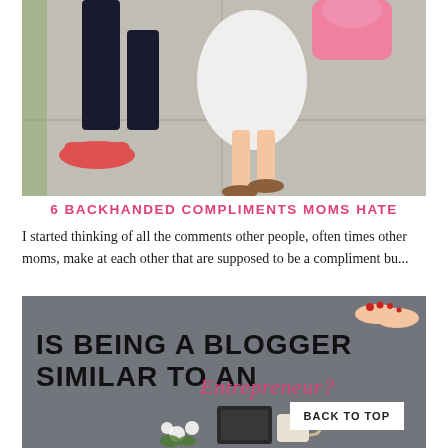[Figure (photo): Photo of adult legs in black pants and coral/pink flat shoes walking on a sidewalk next to a young child in a white dress and brown sandals, a pink stuffed animal toy visible at the top]
6 BACKHANDED COMPLIMENTS MOMS HATE
I started thinking of all the comments other people, often times other moms, make at each other that are supposed to be a compliment bu...
[Figure (photo): Dark grey background image with bold black text reading 'IS BEING A BLOGGER SIMILAR TO AN' followed by pink script text 'Entrepreneur?' with a person's feet with red nail polish visible at the top right, a small chalkboard, white flowers, and a coffee cup at the bottom]
BACK TO TOP